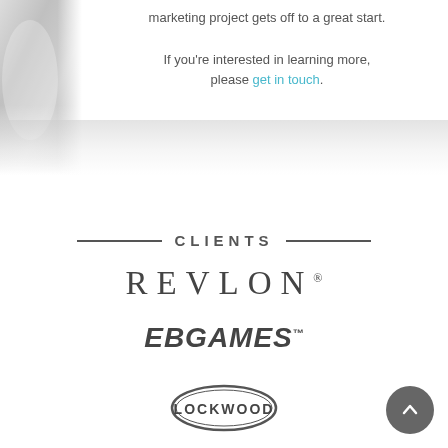[Figure (photo): Partial blurred photo on the left side, light gray tones]
marketing project gets off to a great start.

If you're interested in learning more, please get in touch.
CLIENTS
[Figure (logo): REVLON logo with registered trademark symbol]
[Figure (logo): EB GAMES logo in italic bold with trademark symbol]
[Figure (logo): Lockwood logo in oval badge style]